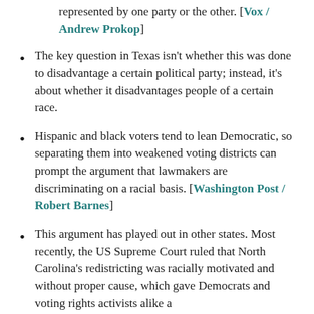represented by one party or the other. [Vox / Andrew Prokop]
The key question in Texas isn't whether this was done to disadvantage a certain political party; instead, it's about whether it disadvantages people of a certain race.
Hispanic and black voters tend to lean Democratic, so separating them into weakened voting districts can prompt the argument that lawmakers are discriminating on a racial basis. [Washington Post / Robert Barnes]
This argument has played out in other states. Most recently, the US Supreme Court ruled that North Carolina's redistricting was racially motivated and without proper cause, which gave Democrats and voting rights activists alike a